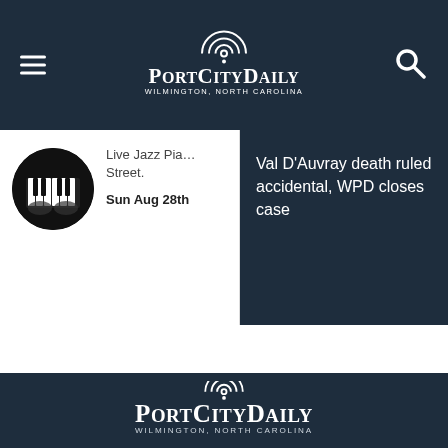Port City Daily - Wilmington, North Carolina
Live Jazz Pia… Street.
Sun Aug 28th
Val D'Auvray death ruled accidental, WPD closes case
[Figure (logo): Port City Daily logo with Wilmington, North Carolina tagline in footer]